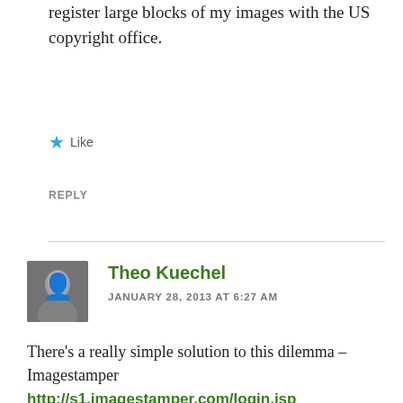register large blocks of my images with the US copyright office.
Like
REPLY
Theo Kuechel
JANUARY 28, 2013 AT 6:27 AM
There's a really simple solution to this dilemma – Imagestamper http://s1.imagestamper.com/login.jsp
With one click on a toolbar button you can record the CC details including date, licence version and timestamp, then you can send the image to Flickr